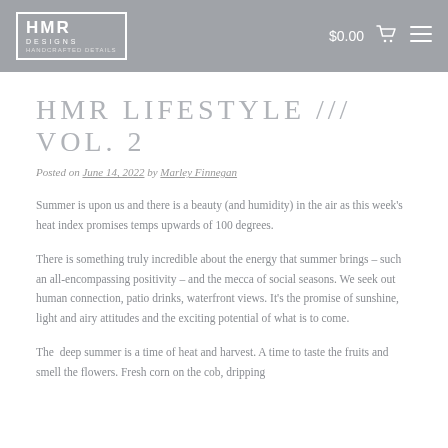HMR DESIGNS  $0.00
HMR LIFESTYLE /// VOL. 2
Posted on June 14, 2022 by Marley Finnegan
Summer is upon us and there is a beauty (and humidity) in the air as this week's heat index promises temps upwards of 100 degrees.
There is something truly incredible about the energy that summer brings – such an all-encompassing positivity – and the mecca of social seasons. We seek out human connection, patio drinks, waterfront views. It's the promise of sunshine, light and airy attitudes and the exciting potential of what is to come.
The deep summer is a time of heat and harvest. A time to taste the fruits and smell the flowers. Fresh corn on the cob, dripping